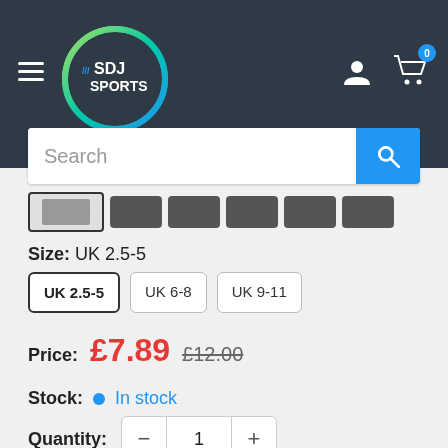[Figure (logo): SDJ Sports logo — circular badge with green/teal/blue gradient ring, white text '/// SDJ SPORTS' inside]
[Figure (screenshot): Navigation header bar with hamburger menu, SDJ Sports logo, user account icon, and shopping cart icon with badge '0']
[Figure (screenshot): Search bar with placeholder text 'Search' and blue search button with magnifying glass icon]
[Figure (screenshot): Product thumbnail strip showing selected thumbnail with border]
Size: UK 2.5-5
UK 2.5-5	UK 6-8	UK 9-11
Price: £7.89  £12.00
Stock: In stock
Quantity: 1